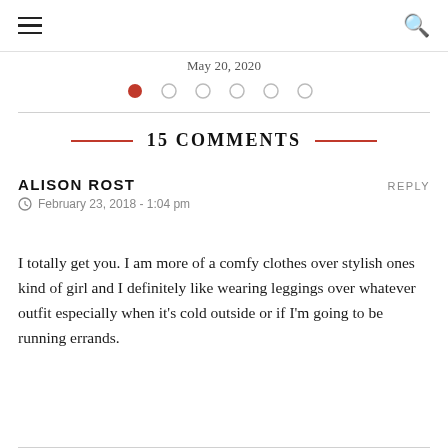May 20, 2020
15 COMMENTS
ALISON ROST
February 23, 2018 - 1:04 pm
I totally get you. I am more of a comfy clothes over stylish ones kind of girl and I definitely like wearing leggings over whatever outfit especially when it’s cold outside or if I’m going to be running errands.